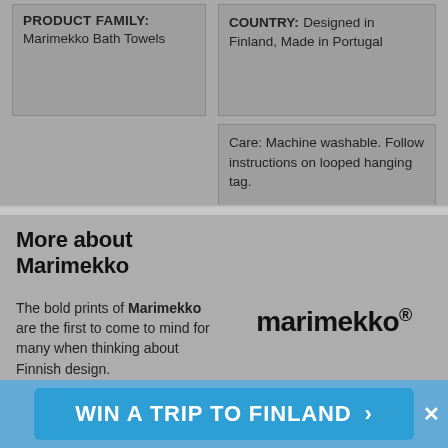PRODUCT FAMILY: Marimekko Bath Towels
COUNTRY: Designed in Finland, Made in Portugal
Care: Machine washable. Follow instructions on looped hanging tag.
More about Marimekko
The bold prints of Marimekko are the first to come to mind for many when thinking about Finnish design.
[Figure (logo): Marimekko logo in bold black text with registered trademark symbol]
WIN A TRIP TO FINLAND >